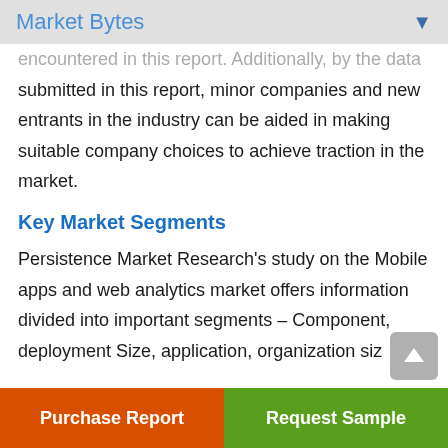Market Bytes
encountered in this report. Additionally, by the data submitted in this report, minor companies and new entrants in the industry can be aided in making suitable company choices to achieve traction in the market.
Key Market Segments
Persistence Market Research's study on the Mobile apps and web analytics market offers information divided into important segments – Component, deployment Size, application, organization siz